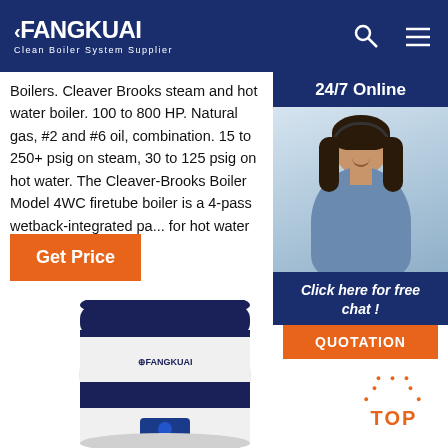FANGKUAI Clean Boiler System Supplier
Boilers. Cleaver Brooks steam and hot water boiler. 100 to 800 HP. Natural gas, #2 and #6 oil, combination. 15 to 250+ psig on steam, 30 to 125 psig on hot water. The Cleaver-Brooks Boiler Model 4WC firetube boiler is a 4-pass wetback-integrated pa... for hot water ...
Get Price
24/7 Online
[Figure (photo): Customer service representative (woman with headset) for 24/7 online chat support]
Click here for free chat !
QUOTATION
[Figure (photo): Fangkuai branded boiler unit — white and dark blue cylindrical boiler with company logo]
TOP